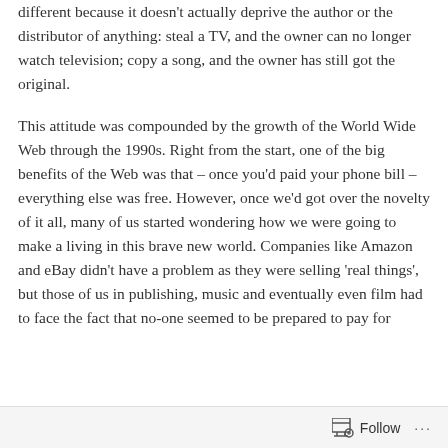different because it doesn't actually deprive the author or the distributor of anything: steal a TV, and the owner can no longer watch television; copy a song, and the owner has still got the original.
This attitude was compounded by the growth of the World Wide Web through the 1990s. Right from the start, one of the big benefits of the Web was that – once you'd paid your phone bill – everything else was free. However, once we'd got over the novelty of it all, many of us started wondering how we were going to make a living in this brave new world. Companies like Amazon and eBay didn't have a problem as they were selling 'real things', but those of us in publishing, music and eventually even film had to face the fact that no-one seemed to be prepared to pay for
Follow ···